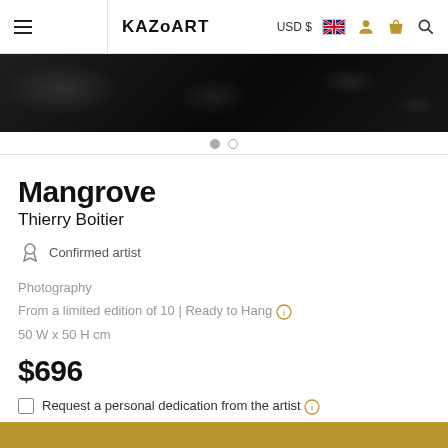KAZoART — USD $ [UK flag] [user icon] [bag icon] [search icon]
[Figure (photo): Dark black textured background strip, resembling a dark marbled or stone surface with faint white/grey organic patterns.]
Mangrove
Thierry Boitier
Confirmed artist
Photography
From a limited edition of 10 | Ready to Hang ℹ
50 W x 50 H cm
$696
Request a personal dedication from the artist ℹ